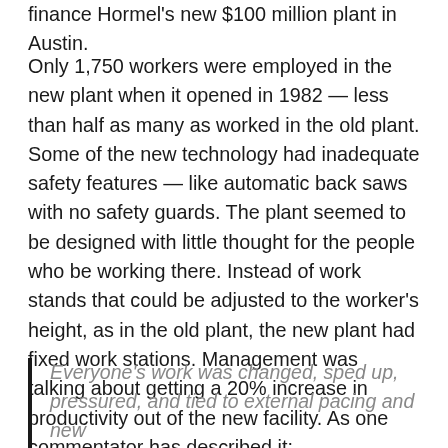finance Hormel's new $100 million plant in Austin.
Only 1,750 workers were employed in the new plant when it opened in 1982 — less than half as many as worked in the old plant. Some of the new technology had inadequate safety features — like automatic back saws with no safety guards. The plant seemed to be designed with little thought for the people who be working there. Instead of work stands that could be adjusted to the worker's height, as in the old plant, the new plant had fixed work stations. Management was talking about getting a 20% increase in productivity out of the new facility. As one commentator has described it:
Everyone's work was changed, sped up, pressured, and tied to external pacing and new